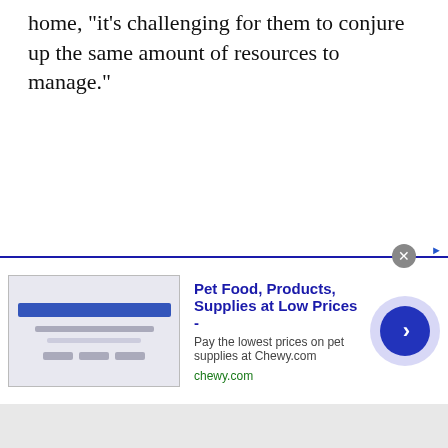home, "it's challenging for them to conjure up the same amount of resources to manage."
[Figure (screenshot): Advertisement banner for Chewy.com pet supplies. Shows a placeholder image on the left with blue bar and lines, ad title 'Pet Food, Products, Supplies at Low Prices -' in bold blue, description 'Pay the lowest prices on pet supplies at Chewy.com', URL 'chewy.com' in green, and a circular blue arrow button on the right. A close (X) button appears at top right of the ad.]